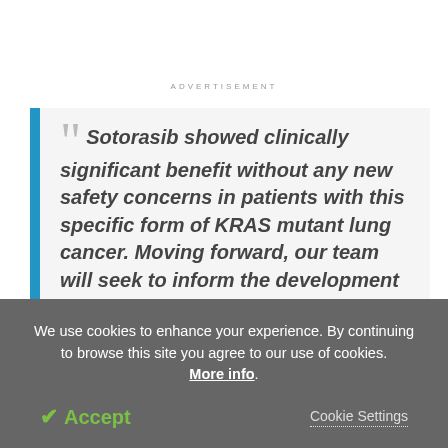ADVERTISEMENT
Sotorasib showed clinically significant benefit without any new safety concerns in patients with this specific form of KRAS mutant lung cancer. Moving forward, our team will seek to inform the development of combination therapies featuring sotorasib and other
We use cookies to enhance your experience. By continuing to browse this site you agree to our use of cookies. More info.
Accept
Cookie Settings